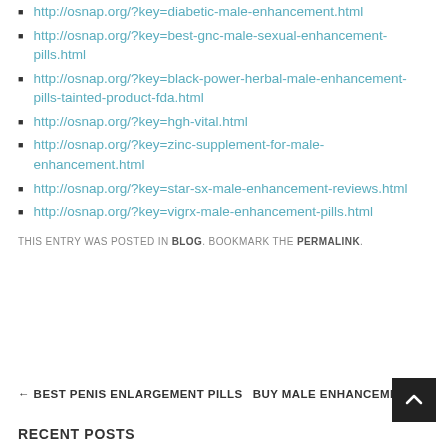http://osnap.org/?key=diabetic-male-enhancement.html
http://osnap.org/?key=best-gnc-male-sexual-enhancement-pills.html
http://osnap.org/?key=black-power-herbal-male-enhancement-pills-tainted-product-fda.html
http://osnap.org/?key=hgh-vital.html
http://osnap.org/?key=zinc-supplement-for-male-enhancement.html
http://osnap.org/?key=star-sx-male-enhancement-reviews.html
http://osnap.org/?key=vigrx-male-enhancement-pills.html
THIS ENTRY WAS POSTED IN BLOG. BOOKMARK THE PERMALINK.
← BEST PENIS ENLARGEMENT PILLS    BUY MALE ENHANCEMENT →
RECENT POSTS